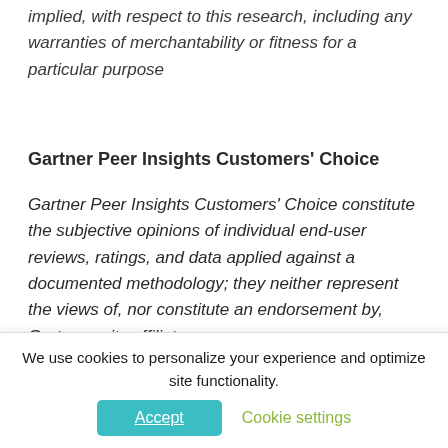implied, with respect to this research, including any warranties of merchantability or fitness for a particular purpose
Gartner Peer Insights Customers' Choice
Gartner Peer Insights Customers' Choice constitute the subjective opinions of individual end-user reviews, ratings, and data applied against a documented methodology; they neither represent the views of, nor constitute an endorsement by, Gartner or its affiliates.
About InfoSec Institute
Infosec has been fighting cybercrime since 2004. Thousands of organizations and over 2.68 million learners trust the wide range of security-specific courses and enterprise security
We use cookies to personalize your experience and optimize site functionality.